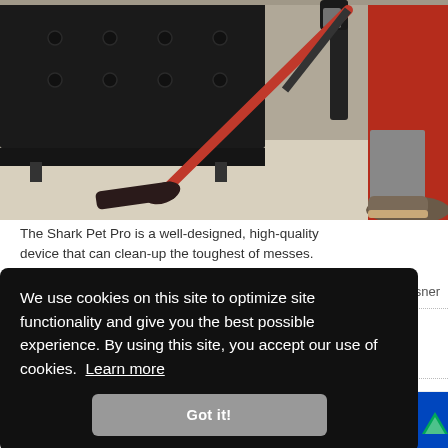[Figure (photo): Photo of a person using a Shark Pet Pro vacuum cleaner on a carpet near a black leather sofa and a red object in the background. The vacuum has a red handle/stick and dark head attachment. A person's shoe and pant leg are visible.]
The Shark Pet Pro is a well-designed, high-quality device that can clean-up the toughest of messes.
We use cookies on this site to optimize site functionality and give you the best possible experience. By using this site, you accept our use of cookies.  Learn more
Got it!
[Figure (logo): Best Buy logo in bottom right corner — BEST in white, BUY in yellow, with mountain icon, on blue background.]